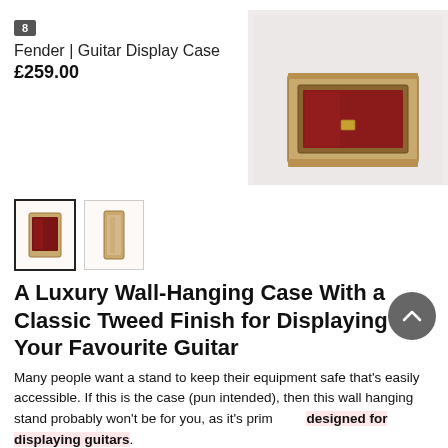8
Fender | Guitar Display Case
£259.00
[Figure (photo): Product image of a Fender guitar display case with red interior lining and gold/tan tweed exterior frame, shown from front angle against light pink/beige background.]
[Figure (photo): Thumbnail 1: selected thumbnail showing the guitar display case with red interior, bordered with black outline.]
[Figure (photo): Thumbnail 2: unselected thumbnail showing the guitar display case from a different angle.]
A Luxury Wall-Hanging Case With a Classic Tweed Finish for Displaying Your Favourite Guitar
Many people want a stand to keep their equipment safe that's easily accessible. If this is the case (pun intended), then this wall hanging stand probably won't be for you, as it's primarily designed for displaying guitars.
It's built using the same reliably robust material as traditional Fender hard cases, ensuring durability no matter what. The design comes with the classic Fender tweed finish and a